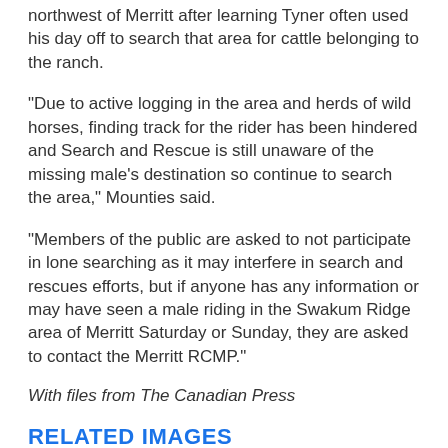northwest of Merritt after learning Tyner often used his day off to search that area for cattle belonging to the ranch.
"Due to active logging in the area and herds of wild horses, finding track for the rider has been hindered and Search and Rescue is still unaware of the missing male's destination so continue to search the area," Mounties said.
"Members of the public are asked to not participate in lone searching as it may interfere in search and rescues efforts, but if anyone has any information or may have seen a male riding in the Swakum Ridge area of Merritt Saturday or Sunday, they are asked to contact the Merritt RCMP."
With files from The Canadian Press
RELATED IMAGES